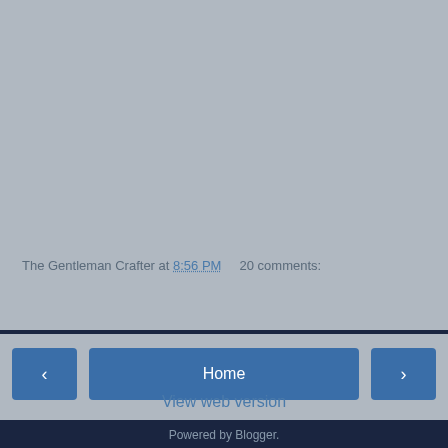[Figure (screenshot): Large grey/blank content area at top of page, representing a blog post image area]
The Gentleman Crafter at 8:56 PM    20 comments:
Share
‹
Home
›
View web version
Powered by Blogger.